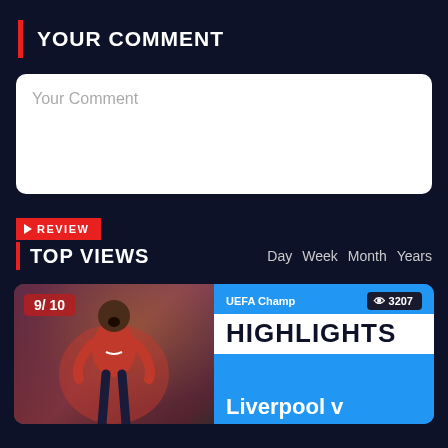YOUR COMMENT
Your Comment
REVIEW
TOP VIEWS
Day  Week  Month  Years
[Figure (screenshot): Highlight card with football player in red Liverpool kit, rating badge 9/10, UEFA Champions League label, 3207 views, HIGHLIGHTS text, Liverpool v text]
9/10
UEFA Champ
3207
HIGHLIGHTS
Liverpool v